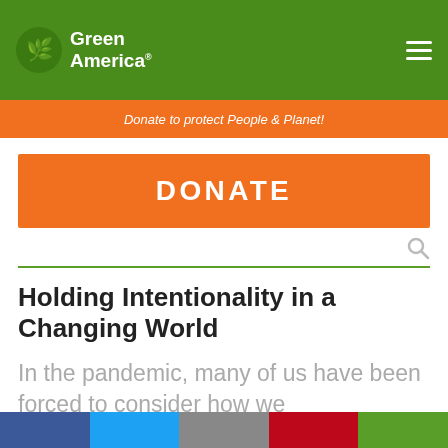Green America
Donate to protect People & Planet!
DONATE
Holding Intentionality in a Changing World
In the pandemic, many of us have been forced to consider how we